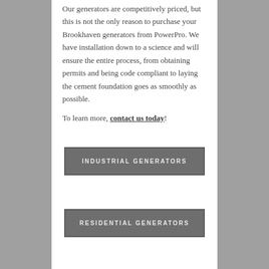Our generators are competitively priced, but this is not the only reason to purchase your Brookhaven generators from PowerPro. We have installation down to a science and will ensure the entire process, from obtaining permits and being code compliant to laying the cement foundation goes as smoothly as possible.
To learn more, contact us today!
INDUSTRIAL GENERATORS
RESIDENTIAL GENERATORS